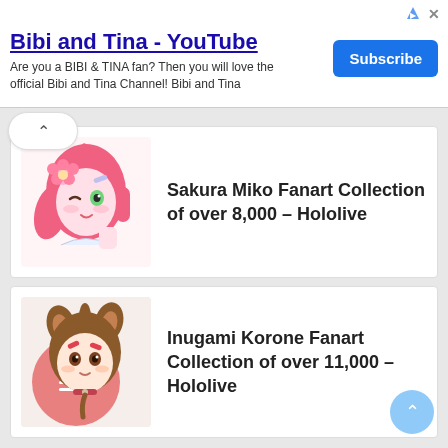[Figure (screenshot): YouTube ad banner for 'Bibi and Tina' channel with Subscribe button]
Bibi and Tina - YouTube
Are you a BIBI & TINA fan? Then you will love the official Bibi and Tina Channel! Bibi and Tina
[Figure (illustration): Sakura Miko anime character with pink hair and flower]
Sakura Miko Fanart Collection of over 8,000 – Hololive
[Figure (illustration): Inugami Korone anime character with brown hair and dog ears]
Inugami Korone Fanart Collection of over 11,000 – Hololive